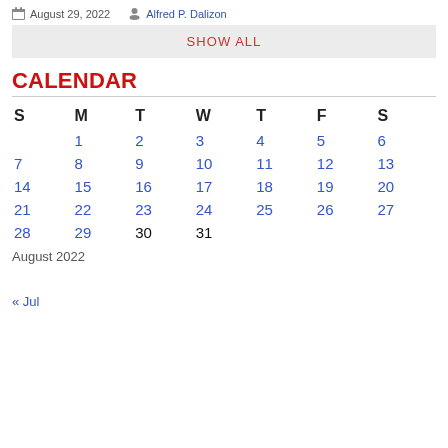August 29, 2022  Alfred P. Dalizon
SHOW ALL
CALENDAR
| S | M | T | W | T | F | S |
| --- | --- | --- | --- | --- | --- | --- |
|  | 1 | 2 | 3 | 4 | 5 | 6 |
| 7 | 8 | 9 | 10 | 11 | 12 | 13 |
| 14 | 15 | 16 | 17 | 18 | 19 | 20 |
| 21 | 22 | 23 | 24 | 25 | 26 | 27 |
| 28 | 29 | 30 | 31 |  |  |  |
August 2022
« Jul